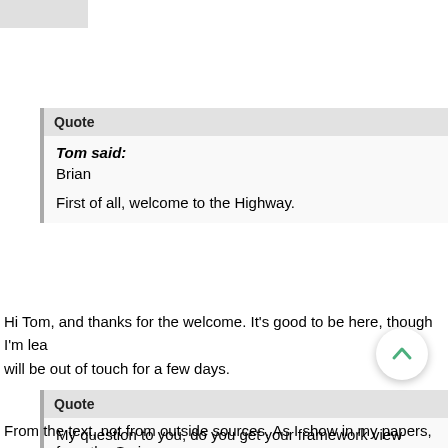[Figure (other): Gray placeholder image block in top-left corner]
Quote
Tom said:
Brian

First of all, welcome to the Highway.
Hi Tom, and thanks for the welcome. It's good to be here, though I'm lea... will be out of touch for a few days.
Quote
My question to you, do you get your framework view from the Scrip... sources (i.e. science) being brought into interpret Scripture?
From the text, not from outside sources. As I show in my papers, there a...